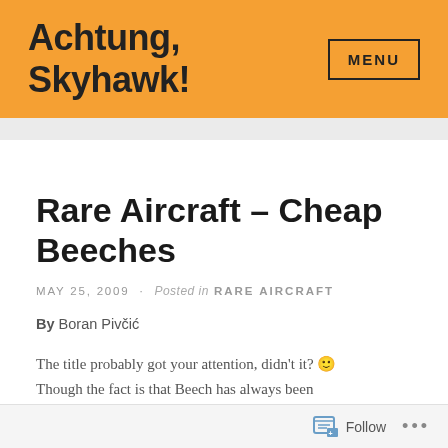Achtung, Skyhawk! MENU
Rare Aircraft – Cheap Beeches
MAY 25, 2009 · Posted in RARE AIRCRAFT
By Boran Pivčić
The title probably got your attention, didn't it? 🙂 Though the fact is that Beech has always been
Follow ...